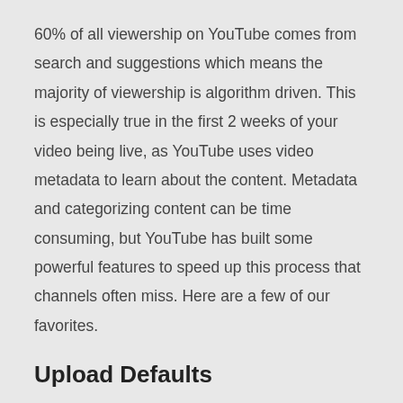60% of all viewership on YouTube comes from search and suggestions which means the majority of viewership is algorithm driven. This is especially true in the first 2 weeks of your video being live, as YouTube uses video metadata to learn about the content. Metadata and categorizing content can be time consuming, but YouTube has built some powerful features to speed up this process that channels often miss. Here are a few of our favorites.
Upload Defaults
Manually adding video metadata like titles, tags and descriptions can be one of the most time